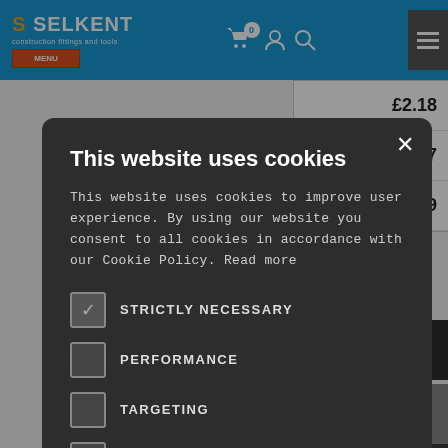[Figure (screenshot): Selkent website header with blue background, logo, cart icon with badge showing 0, account icon, search icon, and hamburger menu]
[Figure (screenshot): Background website showing price table with values £2.18, £1.97, £1.79 and dark bars]
This website uses cookies
This website uses cookies to improve user experience. By using our website you consent to all cookies in accordance with our Cookie Policy. Read more
STRICTLY NECESSARY (checked)
PERFORMANCE
TARGETING
FUNCTIONALITY
ACCEPT ALL
DECLINE ALL
SHOW DETAILS